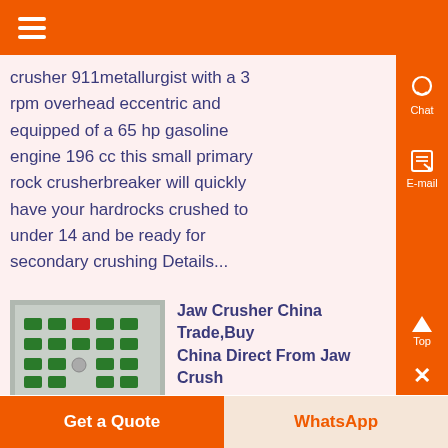crusher 911metallurgist with a 3 rpm overhead eccentric and equipped of a 65 hp gasoline engine 196 cc this small primary rock crusherbreaker will quickly have your hardrocks crushed to under 14 and be ready for secondary crushing Details...
[Figure (photo): Photo of industrial control panel with multiple colored switches/buttons on a gray surface]
Jaw Crusher China Trade,Buy China Direct From Jaw Crush
Know More